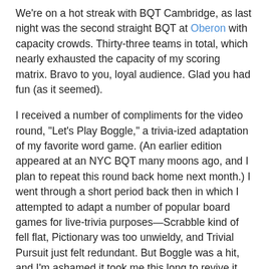We're on a hot streak with BQT Cambridge, as last night was the second straight BQT at Oberon with capacity crowds. Thirty-three teams in total, which nearly exhausted the capacity of my scoring matrix. Bravo to you, loyal audience. Glad you had fun (as it seemed).
I received a number of compliments for the video round, "Let's Play Boggle," a trivia-ized adaptation of my favorite word game. (An earlier edition appeared at an NYC BQT many moons ago, and I plan to repeat this round back home next month.) I went through a short period back then in which I attempted to adapt a number of popular board games for live-trivia purposes—Scrabble kind of fell flat, Pictionary was too unwieldy, and Trivial Pursuit just felt redundant. But Boggle was a hit, and I'm ashamed it took me this long to revive it.
I've always loved Boggle—sometime-Boston-B-Cutie Jessica and I spent countless hours shaking the cubes when we were kids—and I often feel that it suits my particular mind-set more than Scrabble does, as I'm a more effective editor than writer (better at finding things than creating things, but that's